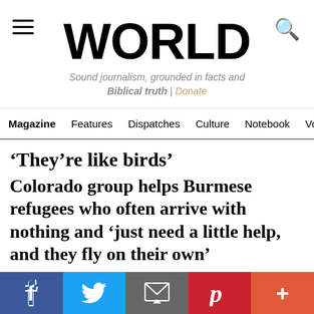WORLD
Sound journalism, grounded in facts and Biblical truth | Donate
Magazine  Features  Dispatches  Culture  Notebook  Vo
‘They’re like birds’
Colorado group helps Burmese refugees who often arrive with nothing and ‘just need a little help, and they fly on their own’
NEED HELP?